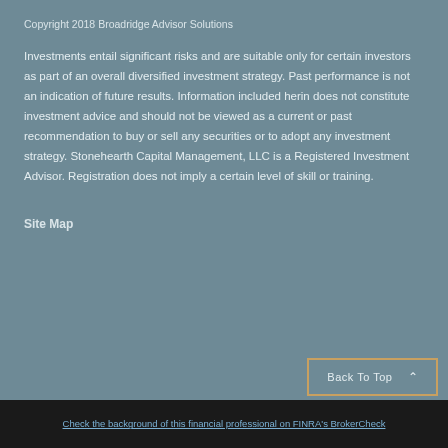Copyright 2018 Broadridge Advisor Solutions
Investments entail significant risks and are suitable only for certain investors as part of an overall diversified investment strategy. Past performance is not an indication of future results. Information included herin does not constitute investment advice and should not be viewed as a current or past recommendation to buy or sell any securities or to adopt any investment strategy. Stonehearth Capital Management, LLC is a Registered Investment Advisor. Registration does not imply a certain level of skill or training.
Site Map
Back To Top
Check the background of this financial professional on FINRA's BrokerCheck